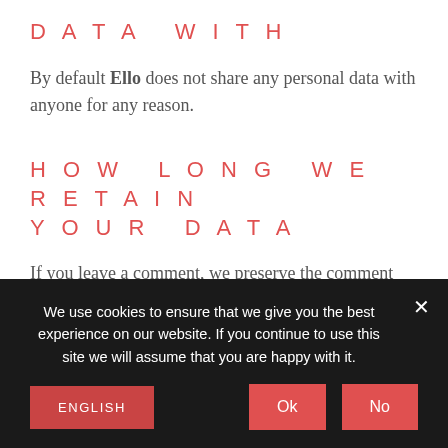DATA WITH
By default Ello does not share any personal data with anyone for any reason.
HOW LONG WE RETAIN YOUR DATA
If you leave a comment, we preserve the comment and its metadata forever. It is so that we can immediately identify and accept any follow-up comments, instead of keeping them in a queue of
We use cookies to ensure that we give you the best experience on our website. If you continue to use this site we will assume that you are happy with it.
ENGLISH
Ok
No